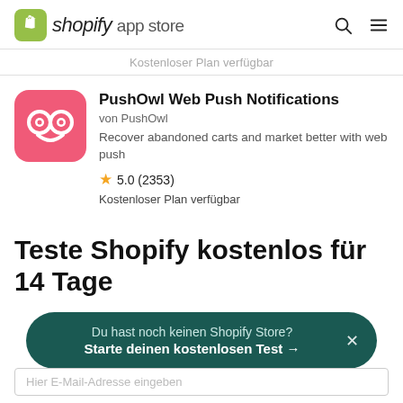shopify app store
Kostenloser Plan verfügbar
[Figure (logo): PushOwl app icon: pink/red rounded square with white owl face design (two circular eyes, small beak)]
PushOwl Web Push Notifications
von PushOwl
Recover abandoned carts and market better with web push
5.0 (2353)
Kostenloser Plan verfügbar
Teste Shopify kostenlos für 14 Tage
Du hast noch keinen Shopify Store? Starte deinen kostenlosen Test →
Hier E-Mail-Adresse eingeben